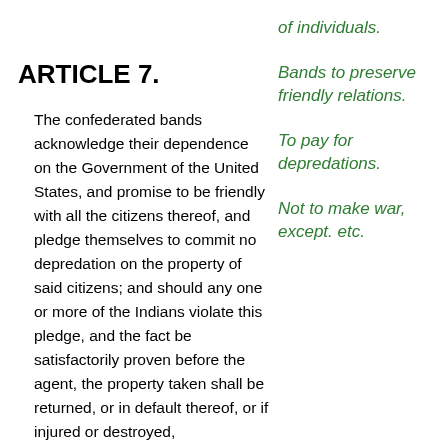of individuals.
ARTICLE 7.
The confederated bands acknowledge their dependence on the Government of the United States, and promise to be friendly with all the citizens thereof, and pledge themselves to commit no depredation on the property of said citizens; and should any one or more of the Indians violate this pledge, and the fact be satisfactorily proven before the agent, the property taken shall be returned, or in default thereof, or if injured or destroyed, compensation may
Bands to preserve friendly relations.
To pay for depredations.
Not to make war, except. etc.